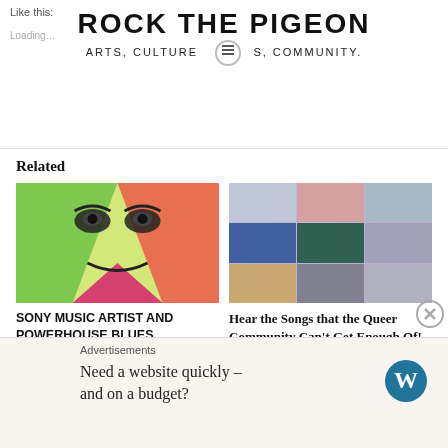Like this:
Loading…
[Figure (logo): Rock The Pigeon logo with tagline 'Arts, Culture, News, Community.' and hamburger menu icon]
Related
[Figure (photo): Colorful graphic portrait of a face with green, yellow, and pink geometric shapes]
SONY MUSIC ARTIST AND POWERHOUSE BLUES PERFORMER KELLI BAKER RELEASES SINGLE BLOOD ON THE NILE
[Figure (photo): Collage of photos of various people from the queer community]
Hear the Songs that the Queer Community Can't Get Enough Of!
October 6, 2018
Advertisements
Need a website quickly – and on a budget?